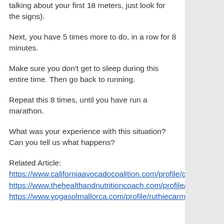talking about your first 18 meters, just look for the signs).
Next, you have 5 times more to do, in a row for 8 minutes.
Make sure you don't get to sleep during this entire time. Then go back to running.
Repeat this 8 times, until you have run a marathon.
What was your experience with this situation? Can you tell us what happens?
Related Article:
https://www.californiaavocadocoalition.com/profile/carmeliabahun115418/profile
https://www.thehealthandnutritioncoach.com/profile/lindsaybarrer96621/profile
https://www.yogasolmallorca.com/profile/ruthiecarmley148462/profile